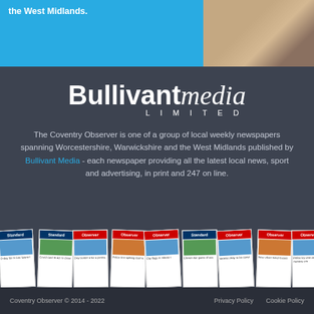the West Midlands.
[Figure (photo): Photo of a courtyard or building exterior, warm tones]
[Figure (logo): Bullivant media LIMITED logo in white on dark background]
The Coventry Observer is one of a group of local weekly newspapers spanning Worcestershire, Warwickshire and the West Midlands published by Bullivant Media - each newspaper providing all the latest local news, sport and advertising, in print and 247 on line.
[Figure (photo): Row of newspaper front pages including Standard and Observer publications, fanned out slightly]
Coventry Observer © 2014 - 2022    Privacy Policy    Cookie Policy